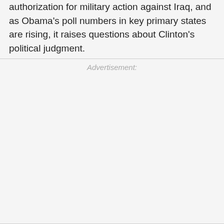authorization for military action against Iraq, and as Obama's poll numbers in key primary states are rising, it raises questions about Clinton's political judgment.
Advertisement: